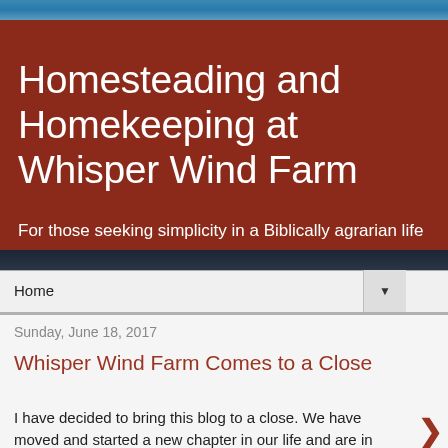[Figure (photo): Website header banner with red background and blue sky strip at top]
Homesteading and Homekeeping at Whisper Wind Farm
For those seeking simplicity in a Biblically agrarian life
Home ▼
Sunday, June 18, 2017
Whisper Wind Farm Comes to a Close
I have decided to bring this blog to a close. We have moved and started a new chapter in our life and are in a new place with new goals, wan